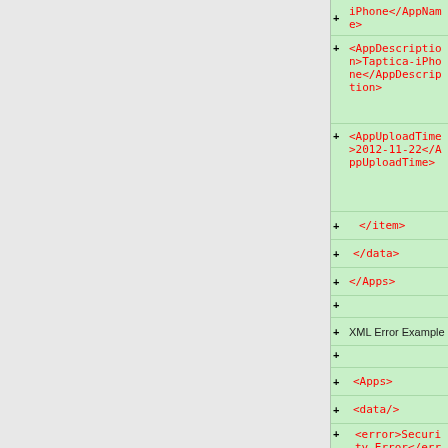[Figure (screenshot): XML code snippet showing app data structure with tags: AppName (iPhone), AppDescription (Taptica-iPhone), AppUploadTime (2012-11-22), closing item/data/Apps tags, then XML Error Example section with Apps, data/, error (Security Error), and closing Apps tag. Displayed as a diff/tree view with green highlighted rows and red monospace text, plus signs on left.]